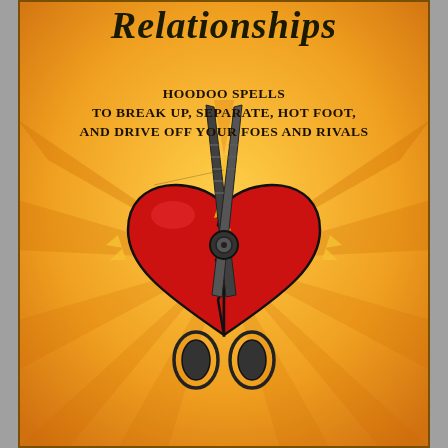Relationships
Hoodoo Spells to Break Up, Separate, Hot Foot, and Drive Off Your Foes and Rivals
[Figure (illustration): Illustration of a broken red heart with scissors cutting through the center, set against a golden-orange background with radiating orange rays and lightning bolt effects. The scissors are rendered in dark gray/black with detailed cross-hatching.]